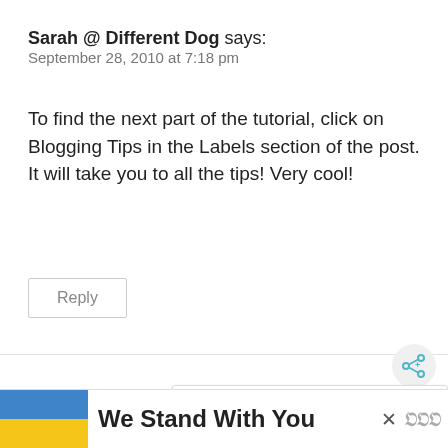Sarah @ Different Dog says:
September 28, 2010 at 7:18 pm
To find the next part of the tutorial, click on Blogging Tips in the Labels section of the post. It will take you to all the tips! Very cool!
Reply
Joani says:
October 29, 2010 at 9:36 pm
[Figure (screenshot): Share button icon (circle with share symbol)]
[Figure (screenshot): What's Next promo panel: FREE SVG Cut Files for Cri...]
[Figure (screenshot): We Stand With You advertisement banner with Ukrainian flag colors]